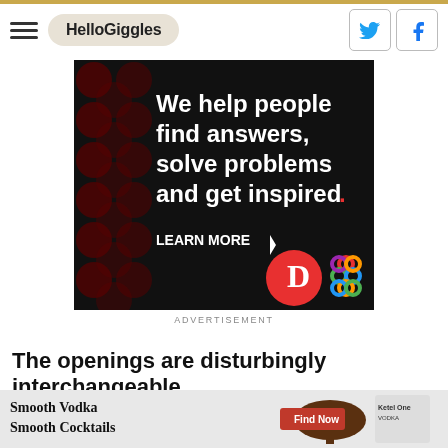HelloGiggles
[Figure (infographic): Advertisement banner: dark background with red polka dot pattern. Text reads 'We help people find answers, solve problems and get inspired.' with 'LEARN MORE' button and logos including a red circle with 'D' and a colorful interlocking circles logo.]
ADVERTISEMENT
The openings are disturbingly interchangeable
[Figure (infographic): Advertisement banner for Smooth Vodka Smooth Cocktails / Ketel One Vodka with Find Now button.]